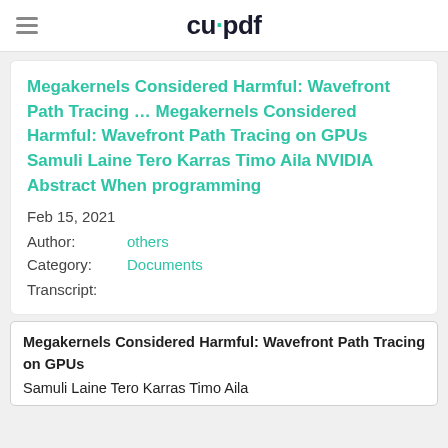cupdf
Megakernels Considered Harmful: Wavefront Path Tracing … Megakernels Considered Harmful: Wavefront Path Tracing on GPUs Samuli Laine Tero Karras Timo Aila NVIDIA Abstract When programming
Feb 15, 2021
Author:        others
Category:      Documents
Transcript:
Megakernels Considered Harmful: Wavefront Path Tracing on GPUs
Samuli Laine Tero Karras Timo Aila